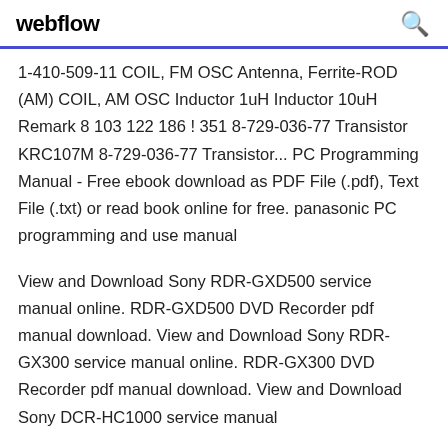webflow
1-410-509-11 COIL, FM OSC Antenna, Ferrite-ROD (AM) COIL, AM OSC Inductor 1uH Inductor 10uH Remark 8 103 122 186 ! 351 8-729-036-77 Transistor KRC107M 8-729-036-77 Transistor... PC Programming Manual - Free ebook download as PDF File (.pdf), Text File (.txt) or read book online for free. panasonic PC programming and use manual
View and Download Sony RDR-GXD500 service manual online. RDR-GXD500 DVD Recorder pdf manual download. View and Download Sony RDR-GX300 service manual online. RDR-GX300 DVD Recorder pdf manual download. View and Download Sony DCR-HC1000 service manual